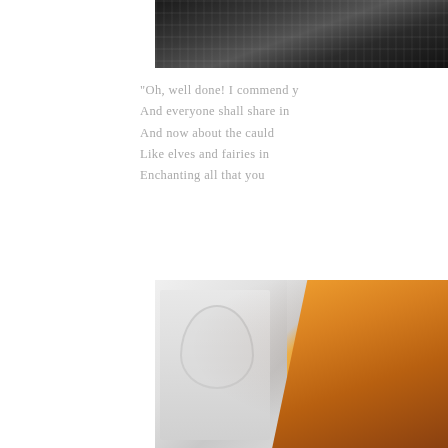[Figure (photo): Black and white photograph showing what appears to be feathered or textured decorative items on a dark surface, cropped at top of page]
"Oh, well done! I commend y
And everyone shall share in
And now about the cauld
Like elves and fairies in
Enchanting all that you
[Figure (photo): Color photograph showing a Halloween-decorated fireplace mantle with white ornamental molding and an orange witch hat with spider web pattern, plus orange decorative elements]